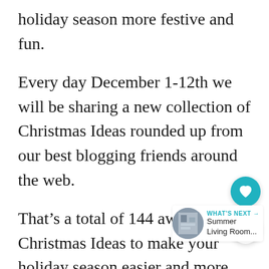holiday season more festive and fun.
Every day December 1-12th we will be sharing a new collection of Christmas Ideas rounded up from our best blogging friends around the web.
That’s a total of 144 awesome Christmas Ideas to make your holiday season easier and more fun!
Some of our topics include Decor, DIY,